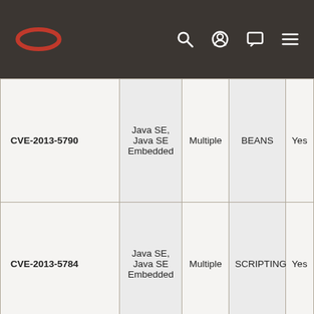Oracle navigation bar with logo and icons
| CVE-2013-5790 | Java SE, Java SE Embedded | Multiple | BEANS | Yes |
| CVE-2013-5784 | Java SE, Java SE Embedded | Multiple | SCRIPTING | Yes |
|  |  |  |  |  |